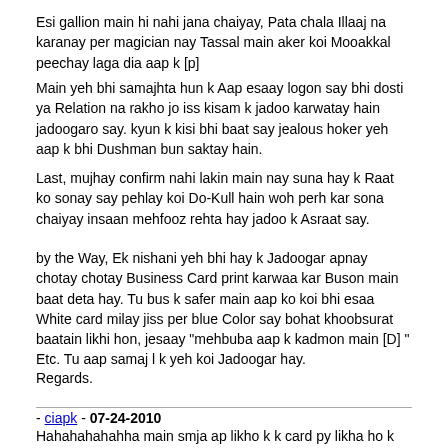Esi gallion main hi nahi jana chaiyay, Pata chala Illaaj na karanay per magician nay Tassal main aker koi Mooakkal peechay laga dia aap k [p]
Main yeh bhi samajhta hun k Aap esaay logon say bhi dosti ya Relation na rakho jo iss kisam k jadoo karwatay hain jadoogaro say. kyun k kisi bhi baat say jealous hoker yeh aap k bhi Dushman bun saktay hain.
Last, mujhay confirm nahi lakin main nay suna hay k Raat ko sonay say pehlay koi Do-Kull hain woh perh kar sona chaiyay insaan mehfooz rehta hay jadoo k Asraat say.
by the Way, Ek nishani yeh bhi hay k Jadoogar apnay chotay chotay Business Card print karwaa kar Buson main baat deta hay. Tu bus k safer main aap ko koi bhi esaa White card milay jiss per blue Color say bohat khoobsurat baatain likhi hon, jesaay "mehbuba aap k kadmon main [D] " Etc. Tu aap samaj l k yeh koi Jadoogar hay.
Regards.
- ciapk - 07-24-2010
Hahahahahahha main smja ap likho k k card py likha ho k yahan rishtay kray jatay hain -) welcome back dear or kahan chlay gay thay naraz ho k -)